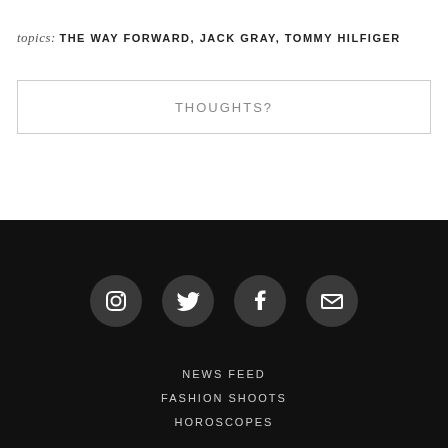topics: THE WAY FORWARD, JACK GRAY, TOMMY HILFIGER
THOUGHTS?
[Figure (infographic): Four social media icon circles in dark gray on black background: Instagram, Twitter, Facebook, Email]
NEWS FEED
FASHION SHOOTS
HOROSCOPES